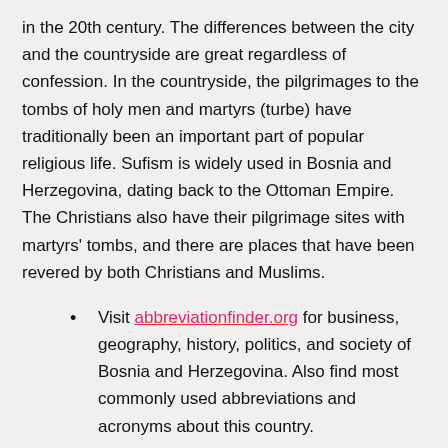in the 20th century. The differences between the city and the countryside are great regardless of confession. In the countryside, the pilgrimages to the tombs of holy men and martyrs (turbe) have traditionally been an important part of popular religious life. Sufism is widely used in Bosnia and Herzegovina, dating back to the Ottoman Empire. The Christians also have their pilgrimage sites with martyrs' tombs, and there are places that have been revered by both Christians and Muslims.
Visit abbreviationfinder.org for business, geography, history, politics, and society of Bosnia and Herzegovina. Also find most commonly used abbreviations and acronyms about this country.